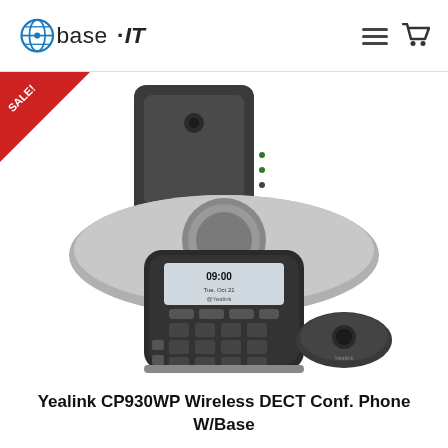base·IT
[Figure (photo): Yealink CP930WP Wireless DECT Conference Phone with base station and wireless microphone pod. Product shown against white background with a red SALE! triangle badge in the top-left corner.]
Yealink CP930WP Wireless DECT Conf. Phone W/Base